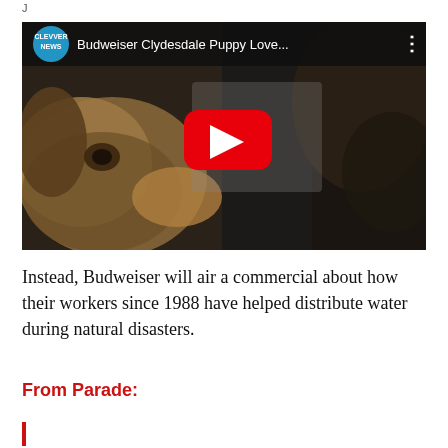J
[Figure (screenshot): YouTube video thumbnail showing a Budweiser Clydesdale Puppy Love video from Clevver News channel, with a puppy and horse nose touching in dark lighting, with a red YouTube play button overlay]
Instead, Budweiser will air a commercial about how their workers since 1988 have helped distribute water during natural disasters.
From Parade: